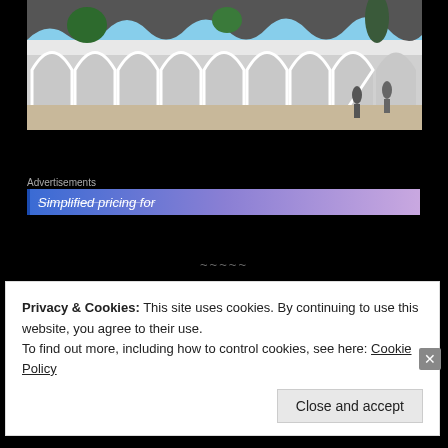[Figure (photo): Exterior of a white modernist building with arched openings and wavy roof, trees and people visible in background, bright sunny day]
Advertisements
[Figure (screenshot): Blue-purple gradient advertisement banner with text 'Simplified pricing for']
~~~~~
And then there was a small museum. Casa Alegre de
Privacy & Cookies: This site uses cookies. By continuing to use this website, you agree to their use.
To find out more, including how to control cookies, see here: Cookie Policy
Close and accept